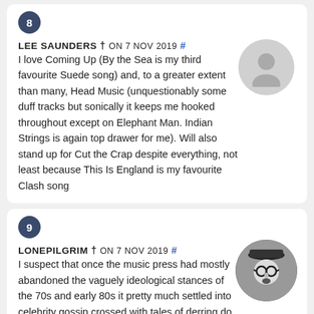8
LEE SAUNDERS † ON 7 NOV 2019 #
I love Coming Up (By the Sea is my third favourite Suede song) and, to a greater extent than many, Head Music (unquestionably some duff tracks but sonically it keeps me hooked throughout except on Elephant Man. Indian Strings is again top drawer for me). Will also stand up for Cut the Crap despite everything, not least because This Is England is my favourite Clash song
9
LONEPILGRIM † ON 7 NOV 2019 #
I suspect that once the music press had mostly abandoned the vaguely ideological stances of the 70s and early 80s it pretty much settled into celebrity gossip crossed with tales of derring do where the plucky protagonists wrestled with their